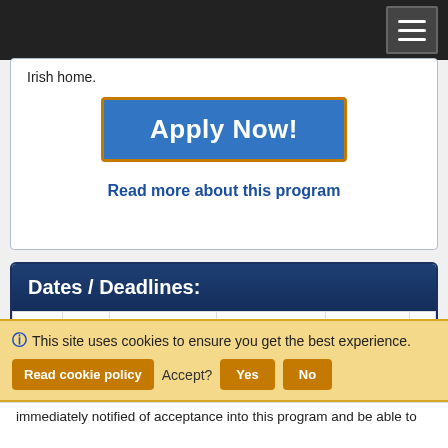[Navigation bar with hamburger menu]
Irish home.
[Figure (other): Apply Now! button — blue rectangle with orange border]
Read more about this program
| Term | Year | App Deadline | Decision Date | Start Date | E... |
| --- | --- | --- | --- | --- | --- |
|  |  |  |  |  |  |
This site uses cookies to ensure you get the best experience.
Read cookie policy   Accept?   Yes   No
immediately notified of acceptance into this program and be able to